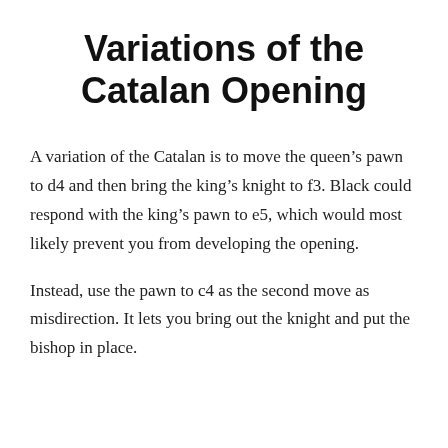Variations of the Catalan Opening
A variation of the Catalan is to move the queen’s pawn to d4 and then bring the king’s knight to f3. Black could respond with the king’s pawn to e5, which would most likely prevent you from developing the opening.
Instead, use the pawn to c4 as the second move as misdirection. It lets you bring out the knight and put the bishop in place.